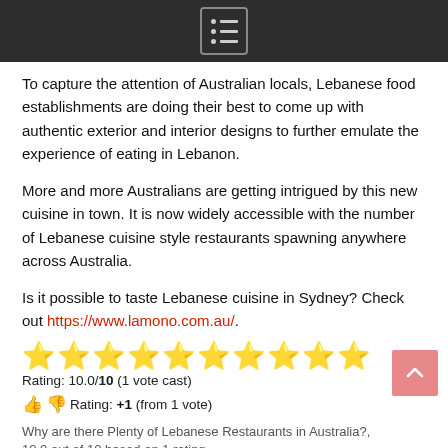[hamburger menu icon]
To capture the attention of Australian locals, Lebanese food establishments are doing their best to come up with authentic exterior and interior designs to further emulate the experience of eating in Lebanon.
More and more Australians are getting intrigued by this new cuisine in town. It is now widely accessible with the number of Lebanese cuisine style restaurants spawning anywhere across Australia.
Is it possible to taste Lebanese cuisine in Sydney? Check out https://www.lamono.com.au/.
[Figure (other): Ten gold/yellow star rating icons in a row]
Rating: 10.0/10 (1 vote cast)
👍 👎 Rating: +1 (from 1 vote)
Why are there Plenty of Lebanese Restaurants in Australia?, 10.0 out of 10 based on 1 rating